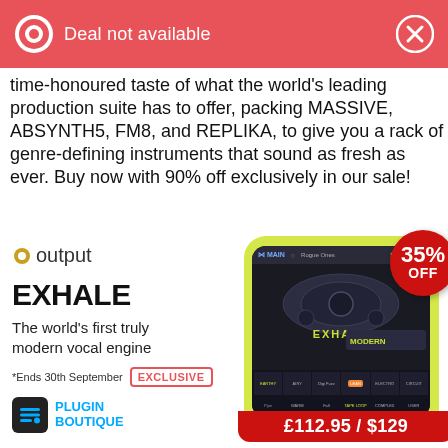Deal not available
time-honoured taste of what the world's leading production suite has to offer, packing MASSIVE, ABSYNTH5, FM8, and REPLIKA, to give you a rack of genre-defining instruments that sound as fresh as ever. Buy now with 90% off exclusively in our sale!
[Figure (screenshot): Output EXHALE product advertisement with logo, product name, description, Plugin Boutique branding, product screenshot, 35% OFF badge, and price £112.95 / $129]